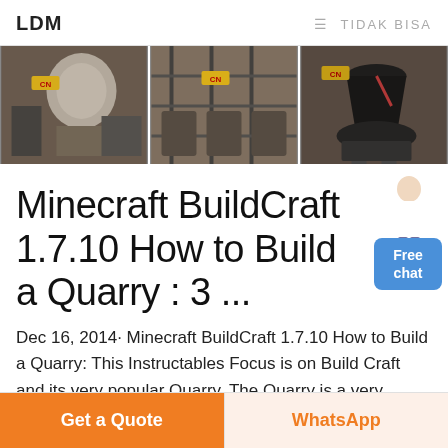LDM  ≡ TIDAK BISA
[Figure (photo): Three side-by-side industrial machinery/crusher photos with orange CN branding labels]
Minecraft BuildCraft 1.7.10 How to Build a Quarry : 3 ...
Dec 16, 2014· Minecraft BuildCraft 1.7.10 How to Build a Quarry: This Instructables Focus is on Build Craft and its very popular Quarry. The Quarry is a very powerful tool in BuildCraft. It Mines for you in Broad area while you go
Get a Quote  WhatsApp